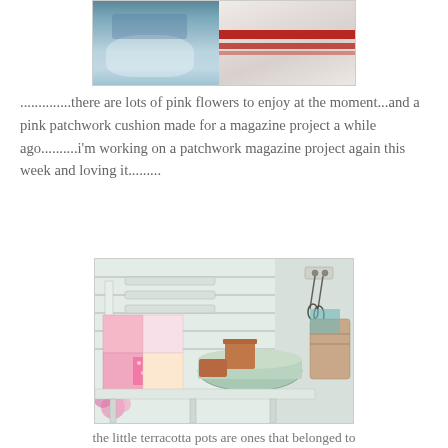[Figure (photo): Top cropped photo showing two images side by side: left shows blue and white pottery/bowl, right shows what appears to be striped fabric or cushion with red stripes]
..............there are lots of pink flowers to enjoy at the moment...and a pink patchwork cushion made for a magazine project a while ago..........i'm working on a patchwork magazine project again this week and loving it.........
[Figure (photo): Photo of a white garden bench/shelf with a pink patchwork cushion, a mint green metal bowl, terracotta pots, hanging keys on a hook, and pink flowers in the lower left corner]
the little terracotta pots are ones that belonged to